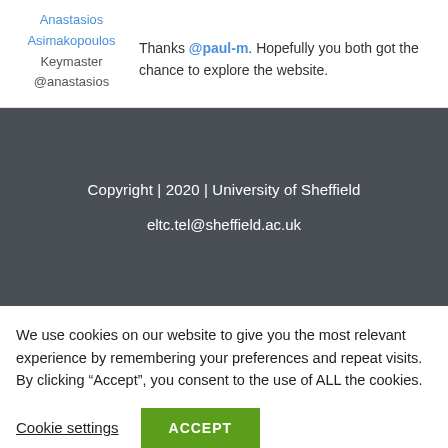Anastasios Asimakopoulos
Keymaster
@anastasios
Thanks @paul-m. Hopefully you both got the chance to explore the website.
Copyright | 2020 | University of Sheffield
eltc.tel@sheffield.ac.uk
We use cookies on our website to give you the most relevant experience by remembering your preferences and repeat visits. By clicking “Accept”, you consent to the use of ALL the cookies.
Cookie settings  ACCEPT